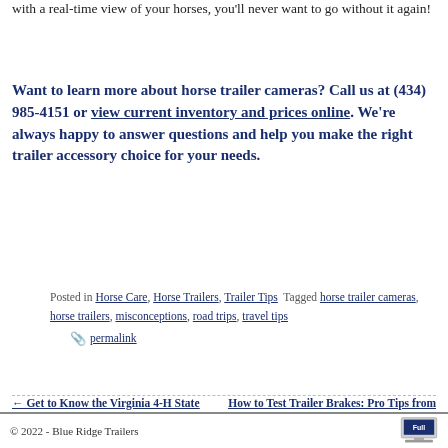with a real-time view of your horses, you'll never want to go without it again!
Want to learn more about horse trailer cameras? Call us at (434) 985-4151 or view current inventory and prices online. We're always happy to answer questions and help you make the right trailer accessory choice for your needs.
Posted in Horse Care, Horse Trailers, Trailer Tips Tagged horse trailer cameras, horse trailers, misconceptions, road trips, travel tips 📎 permalink
← Get to Know the Virginia 4-H State Horse Show
How to Test Trailer Brakes: Pro Tips from a VA Inspection Station →
© 2022 - Blue Ridge Trailers